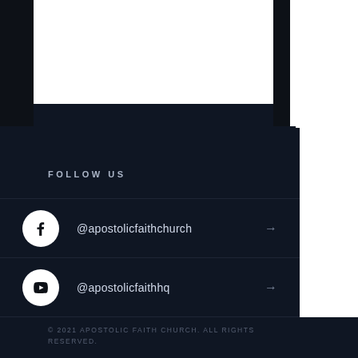[Figure (screenshot): Partially visible website header/logo area, white background with dashed underline text]
FOLLOW US
@apostolicfaithchurch — Facebook link with arrow
@apostolicfaithhq — YouTube link with arrow
© 2021 APOSTOLIC FAITH CHURCH. ALL RIGHTS RESERVED.